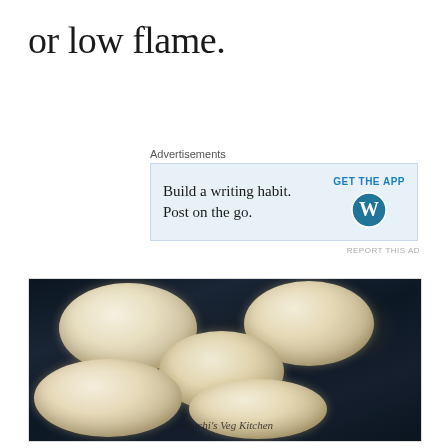or low flame.
Advertisements
[Figure (screenshot): WordPress advertisement banner with text 'Build a writing habit. Post on the go.' and 'GET THE APP' call to action with WordPress logo]
REPORT THIS AD
[Figure (photo): Overhead close-up photo of round dough pieces frying in dark hot oil, bubbling around the edges. Watermark reads '© Ruchi's Veg Kitchen']